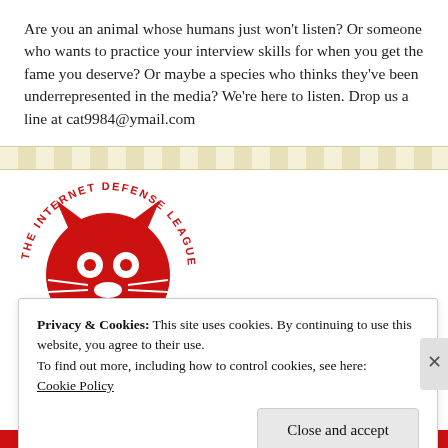Are you an animal whose humans just won't listen? Or someone who wants to practice your interview skills for when you get the fame you deserve? Or maybe a species who thinks they've been underrepresented in the media? We're here to listen. Drop us a line at cat9984@ymail.com
[Figure (logo): The Internet Defense League circular badge logo with a red cat face and text 'THE INTERNET DEFENSE LEAGUE' around the top and 'PROUD MEMBER' around the bottom]
Privacy & Cookies: This site uses cookies. By continuing to use this website, you agree to their use.
To find out more, including how to control cookies, see here:
Cookie Policy
Close and accept